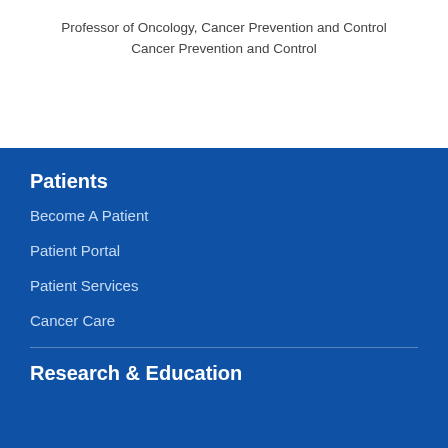Professor of Oncology, Cancer Prevention and Control
Cancer Prevention and Control
Patients
Become A Patient
Patient Portal
Patient Services
Cancer Care
Research & Education